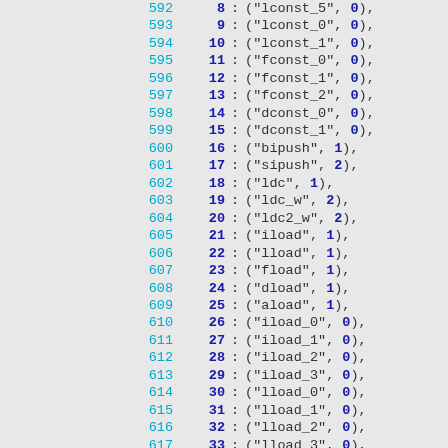Code listing lines 592-622 showing opcode table entries with index numbers and tuples of instruction names and operand counts.